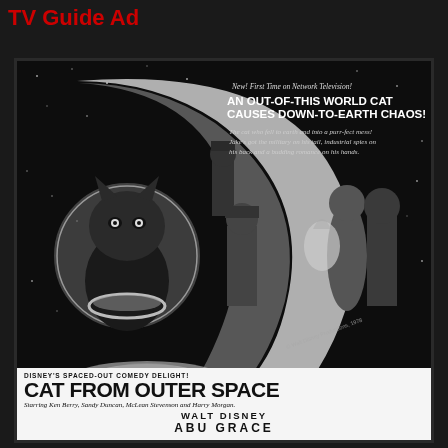TV Guide Ad
[Figure (illustration): Black and white vintage TV Guide advertisement for 'Cat From Outer Space' (1978 Walt Disney Productions). Shows a cat wearing a space collar in the foreground, a large crescent moon shape, silhouettes of military figures, a couple (man and woman), and a soldier in the center against a starry space background.]
New! First Time on Network Television!
AN OUT-OF-THIS WORLD CAT CAUSES DOWN-TO-EARTH CHAOS!
The cat who fell to earth and into a purr-fect mess! Jake's got the military on his tail, industrial spies on his back and a budding romance on his hands.
DISNEY'S SPACED-OUT COMEDY DELIGHT!
CAT FROM OUTER SPACE
Starring Ken Berry, Sandy Duncan, McLean Stevenson and Harry Morgan.
WALT DISNEY
ABU GRACE